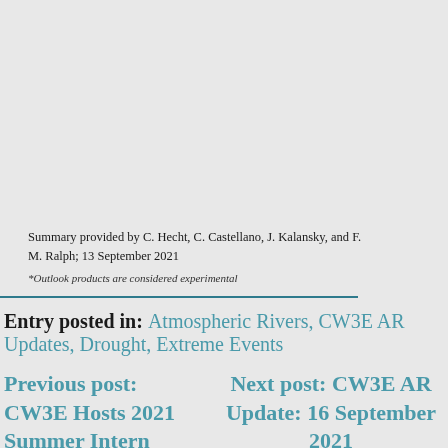Summary provided by C. Hecht, C. Castellano, J. Kalansky, and F. M. Ralph; 13 September 2021
*Outlook products are considered experimental
Entry posted in: Atmospheric Rivers, CW3E AR Updates, Drought, Extreme Events
Previous post: CW3E Hosts 2021 Summer Intern
Next post: CW3E AR Update: 16 September 2021 Outlook